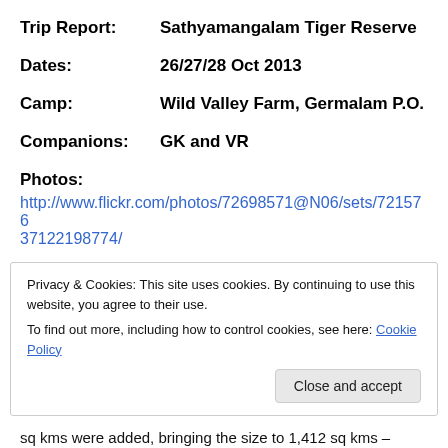Trip Report:   Sathyamangalam Tiger Reserve
Dates:   26/27/28 Oct 2013
Camp:   Wild Valley Farm, Germalam P.O.
Companions:   GK and VR
Photos:
http://www.flickr.com/photos/72698571@N06/sets/72157637122198774/
Privacy & Cookies: This site uses cookies. By continuing to use this website, you agree to their use.
To find out more, including how to control cookies, see here: Cookie Policy
Close and accept
sq kms were added, bringing the size to 1,412 sq kms –